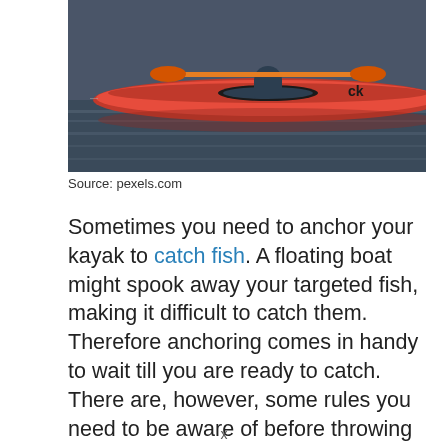[Figure (photo): A person in a red kayak on dark water, photographed from the side. The kayak is bright red and the water reflects the scene.]
Source: pexels.com
Sometimes you need to anchor your kayak to catch fish. A floating boat might spook away your targeted fish, making it difficult to catch them. Therefore anchoring comes in handy to wait till you are ready to catch. There are, however, some rules you need to be aware of before throwing an anchor. Not only that, you need some dedicated equipment that will allow you to anchor safely. The following section focuses on techniques of anchoring your kayak; what to
x